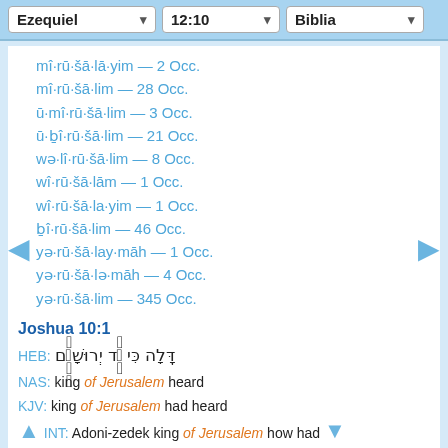Ezequiel  12:10  Biblia
mî·rū·šā·lā·yim — 2 Occ.
mî·rū·šā·lim — 28 Occ.
ū·mî·rū·šā·lim — 3 Occ.
ū·ḇî·rū·šā·lim — 21 Occ.
wə·lî·rū·šā·lim — 8 Occ.
wî·rū·šā·lām — 1 Occ.
wî·rū·šā·la·yim — 1 Occ.
ḇî·rū·šā·lim — 46 Occ.
yə·rū·šā·lay·māh — 1 Occ.
yə·rū·šā·lə·māh — 4 Occ.
yə·rū·šā·lim — 345 Occ.
Joshua 10:1
HEB: דָּֽלָה כִּי לָ֔ד יְרוּשָׁלִַ֔ם
NAS: king of Jerusalem heard
KJV: king of Jerusalem had heard
INT: Adoni-zedek king of Jerusalem how had